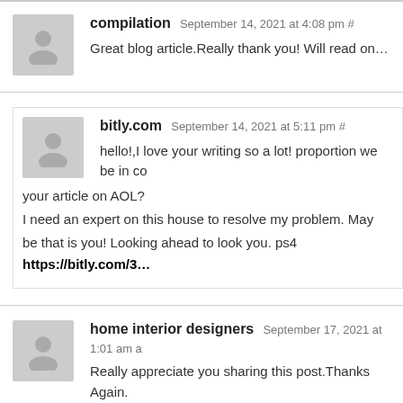compilation September 14, 2021 at 4:08 pm #
Great blog article.Really thank you! Will read on…
bitly.com September 14, 2021 at 5:11 pm #
hello!,I love your writing so a lot! proportion we be in co your article on AOL?
I need an expert on this house to resolve my problem. May
be that is you! Looking ahead to look you. ps4 https://bitly.com/3…
home interior designers September 17, 2021 at 1:01 am
Really appreciate you sharing this post.Thanks Again.